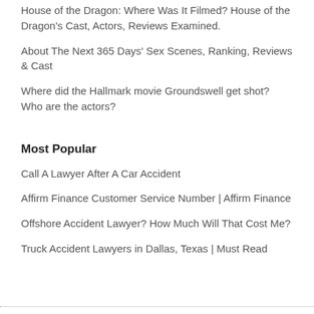House of the Dragon: Where Was It Filmed? House of the Dragon's Cast, Actors, Reviews Examined.
About The Next 365 Days' Sex Scenes, Ranking, Reviews & Cast
Where did the Hallmark movie Groundswell get shot? Who are the actors?
Most Popular
Call A Lawyer After A Car Accident
Affirm Finance Customer Service Number | Affirm Finance
Offshore Accident Lawyer? How Much Will That Cost Me?
Truck Accident Lawyers in Dallas, Texas | Must Read